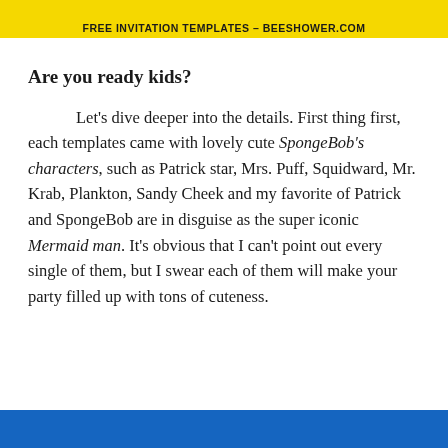FREE INVITATION TEMPLATES - BEESHOWER.COM
Are you ready kids?
Let's dive deeper into the details. First thing first, each templates came with lovely cute SpongeBob's characters, such as Patrick star, Mrs. Puff, Squidward, Mr. Krab, Plankton, Sandy Cheek and my favorite of Patrick and SpongeBob are in disguise as the super iconic Mermaid man. It's obvious that I can't point out every single of them, but I swear each of them will make your party filled up with tons of cuteness.